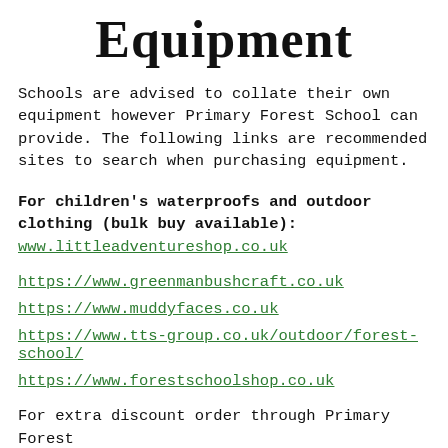Equipment
Schools are advised to collate their own equipment however Primary Forest School can provide. The following links are recommended sites to search when purchasing equipment.
For children's waterproofs and outdoor clothing (bulk buy available): www.littleadventureshop.co.uk
https://www.greenmanbushcraft.co.uk
https://www.muddyfaces.co.uk
https://www.tts-group.co.uk/outdoor/forest-school/
https://www.forestschoolshop.co.uk
For extra discount order through Primary Forest